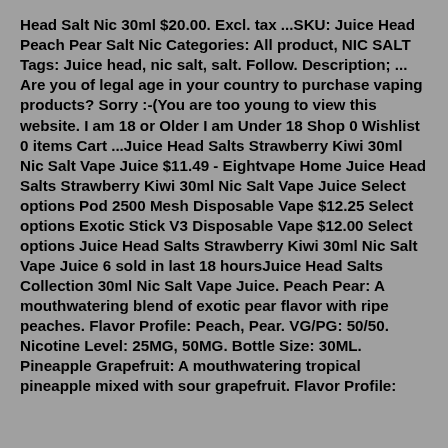Head Salt Nic 30ml $20.00. Excl. tax ...SKU: Juice Head Peach Pear Salt Nic Categories: All product, NIC SALT Tags: Juice head, nic salt, salt. Follow. Description; ... Are you of legal age in your country to purchase vaping products? Sorry :-(You are too young to view this website. I am 18 or Older I am Under 18 Shop 0 Wishlist 0 items Cart ...Juice Head Salts Strawberry Kiwi 30ml Nic Salt Vape Juice $11.49 - Eightvape Home Juice Head Salts Strawberry Kiwi 30ml Nic Salt Vape Juice Select options Pod 2500 Mesh Disposable Vape $12.25 Select options Exotic Stick V3 Disposable Vape $12.00 Select options Juice Head Salts Strawberry Kiwi 30ml Nic Salt Vape Juice 6 sold in last 18 hoursJuice Head Salts Collection 30ml Nic Salt Vape Juice. Peach Pear: A mouthwatering blend of exotic pear flavor with ripe peaches. Flavor Profile: Peach, Pear. VG/PG: 50/50. Nicotine Level: 25MG, 50MG. Bottle Size: 30ML. Pineapple Grapefruit: A mouthwatering tropical pineapple mixed with sour grapefruit. Flavor Profile: